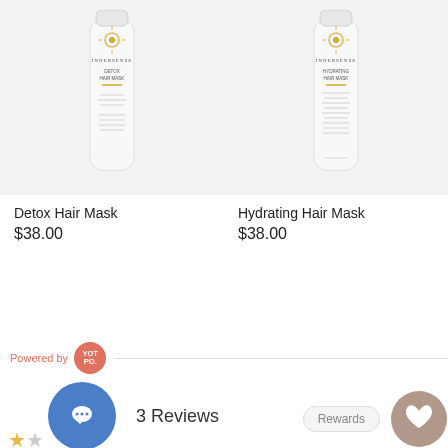[Figure (photo): Innersense Detox Hair Mask white tube product photo on light grey background]
Detox Hair Mask
$38.00
[Figure (photo): Innersense Hydrating Hair Mask white tube product photo on light grey background]
Hydrating Hair Mask
$38.00
Powered by YOTPO.
3 Reviews
Rewards